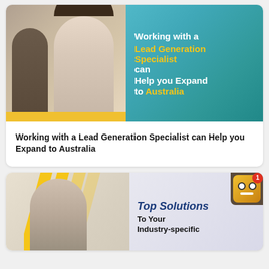[Figure (illustration): Blog post card: photo of two office workers with a teal background panel containing white and yellow bold text: 'Working with a Lead Generation Specialist can Help you Expand to Australia'. Yellow bar at bottom of photo section.]
Working with a Lead Generation Specialist can Help you Expand to Australia
[Figure (illustration): Blog post card showing a stressed man with diagonal yellow stripes, teal/dark sidebar with a robot icon badge showing notification '1', and text 'Top Solutions To Your Industry-specific']